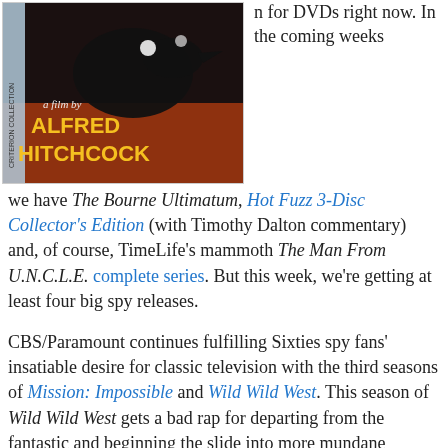[Figure (photo): DVD cover for an Alfred Hitchcock film from the Criterion Collection, showing a black bird silhouette on a dark background with the text 'a film by ALFRED HITCHCOCK' in yellow lettering.]
n for DVDs right now. In the coming weeks we have The Bourne Ultimatum, Hot Fuzz 3-Disc Collector's Edition (with Timothy Dalton commentary) and, of course, TimeLife's mammoth The Man From U.N.C.L.E. complete series. But this week, we're getting at least four big spy releases.
CBS/Paramount continues fulfilling Sixties spy fans' insatiable desire for classic television with the third seasons of Mission: Impossible and Wild Wild West. This season of Wild Wild West gets a bad rap for departing from the fantastic and beginning the slide into more mundane Western territory, but from what I've watched of the set so far, while there might be fewer of the fantastical elements, there's still spying a-plenty! Unfortunately, there are none of